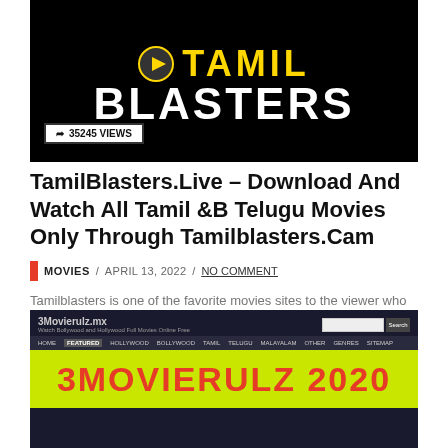[Figure (screenshot): TamilBlasters website logo on black background with yellow TAMIL text and white BLASTERS text, showing 35245 views badge]
TamilBlasters.Live – Download And Watch All Tamil &B Telugu Movies Only Through Tamilblasters.Cam
MOVIES / APRIL 13, 2022 / NO COMMENT
Tamilblasters is one of the favorite movies sites to the viewer who loves movies, TAMILBLASTERSf is an illegal...
[Figure (screenshot): 3Movierulz.mx website screenshot showing navigation bar and 3MOVIERULZ 2020 banner in red text on yellow/green background]